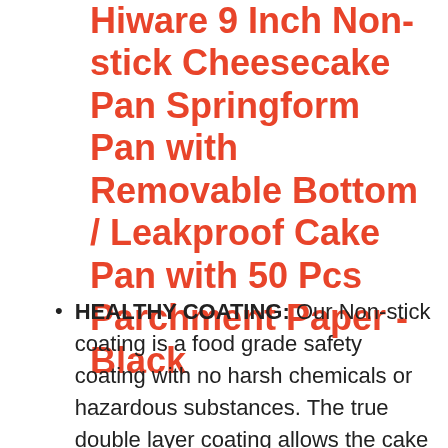Hiware 9 Inch Non-stick Cheesecake Pan Springform Pan with Removable Bottom / Leakproof Cake Pan with 50 Pcs Parchment Paper - Black
HEALTHY COATING: Our Non-stick coating is a food grade safety coating with no harsh chemicals or hazardous substances. The true double layer coating allows the cake be easily removed without damage.